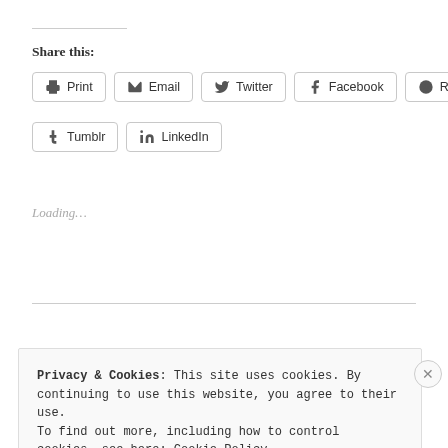Share this:
Print | Email | Twitter | Facebook | Reddit | Tumblr | LinkedIn
Loading...
Privacy & Cookies: This site uses cookies. By continuing to use this website, you agree to their use. To find out more, including how to control cookies, see here: Cookie Policy
Close and accept